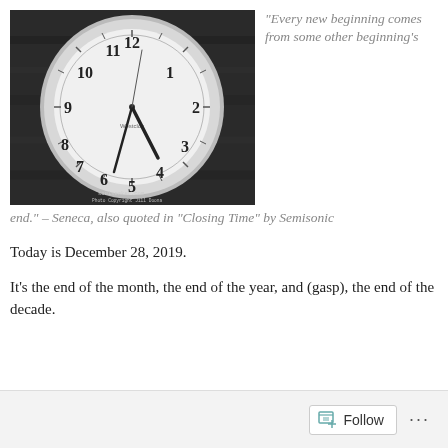[Figure (photo): Black and white photograph of a Westclox round wall clock face showing approximately 6:31 time, with watermark text 'soulseaker.com Photo Copyright Jill Doona' at bottom left]
“Every new beginning comes from some other beginning’s end.” – Seneca, also quoted in “Closing Time” by Semisonic
Today is December 28, 2019.
It’s the end of the month, the end of the year, and (gasp), the end of the decade.
Follow ...